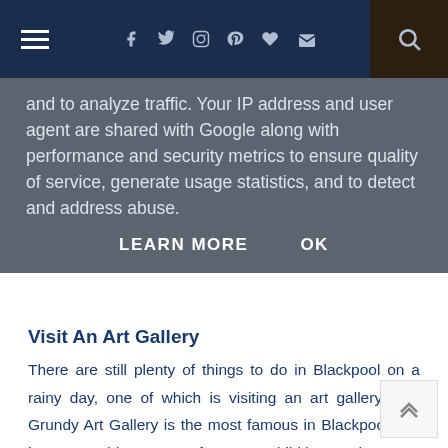Navigation bar with hamburger menu, social icons (facebook, twitter, instagram, pinterest, heart, email), and search button
and to analyze traffic. Your IP address and user agent are shared with Google along with performance and security metrics to ensure quality of service, generate usage statistics, and to detect and address abuse. LEARN MORE OK
Visit An Art Gallery
There are still plenty of things to do in Blackpool on a rainy day, one of which is visiting an art gallery. The Grundy Art Gallery is the most famous in Blackpool and hosts a wide range of great exhibitions. There’s a combination of classic, historical, art and modern, contemporary pieces. It’s a fantastic way to spend your rainy day and have plenty of fun too.